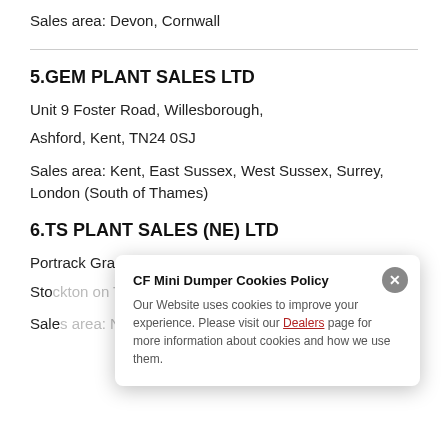Sales area: Devon, Cornwall
5.GEM PLANT SALES LTD
Unit 9 Foster Road, Willesborough,
Ashford, Kent, TN24 0SJ
Sales area: Kent, East Sussex, West Sussex, Surrey, London (South of Thames)
6.TS PLANT SALES (NE) LTD
Portrack Grange Road,
Stockton on Tees, TS18 2PH
Sales area: [partially obscured]
[Figure (screenshot): Cookie consent popup overlay: 'CF Mini Dumper Cookies Policy' - Our Website uses cookies to improve your experience. Please visit our Dealers page for more information about cookies and how we use them.]